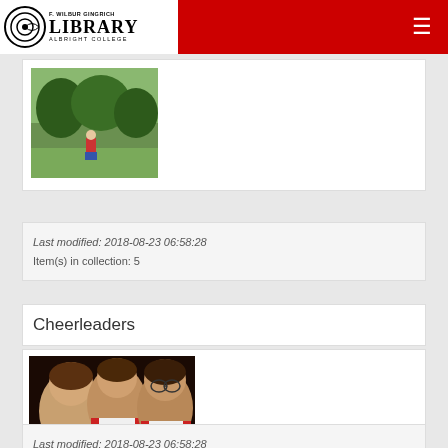F. Wilbur Gingrich Library — Albright College
[Figure (photo): Outdoor campus photo showing a person sitting near bushes and trees]
Last modified: 2018-08-23 06:58:28
Item(s) in collection: 5
Cheerleaders
[Figure (photo): Photo of three cheerleaders in red and white uniforms smiling at the camera]
Last modified: 2018-08-23 06:58:28
Item(s) in collection: 83